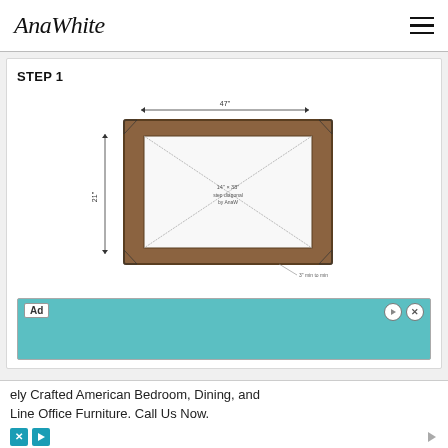AnaWhite
STEP 1
[Figure (engineering-diagram): Top-down engineering diagram of a rectangular wooden frame (tray). The frame is shown with brown/wood-colored borders and diagonal lines crossing from corner to corner indicating the open center. Dimension arrows indicate the overall width at the top, the height on the left side labeled '21"', and a note at the bottom right. Small arrowheads mark the corners.]
Ad
ely Crafted American Bedroom, Dining, and Line Office Furniture. Call Us Now.